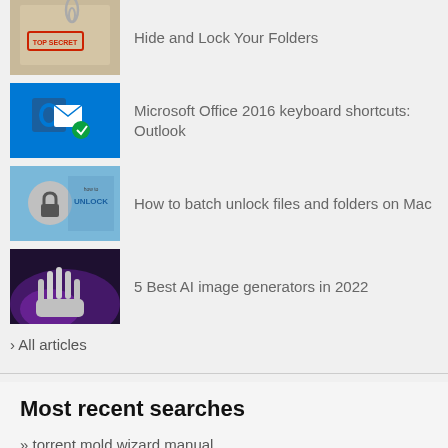[Figure (screenshot): Thumbnail image of a top secret folder with paperclip]
Hide and Lock Your Folders
[Figure (screenshot): Microsoft Outlook 2016 blue icon thumbnail]
Microsoft Office 2016 keyboard shortcuts: Outlook
[Figure (screenshot): How to Unlock files thumbnail with lock icon]
How to batch unlock files and folders on Mac
[Figure (screenshot): AI robot hand image thumbnail]
5 Best AI image generators in 2022
› All articles
Most recent searches
» torrent mold wizard manual
» web player ipa
» free midi player for ipad
» how fix motion blur pes 2012